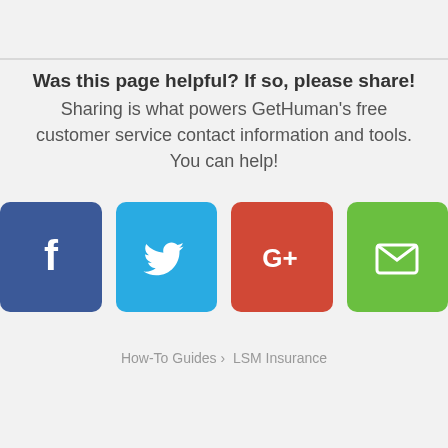Was this page helpful? If so, please share!
Sharing is what powers GetHuman's free customer service contact information and tools. You can help!
[Figure (illustration): Four social share buttons: Facebook (blue), Twitter (light blue), Google+ (red), Email (green), each as rounded square icons with white symbols]
How-To Guides › LSM Insurance